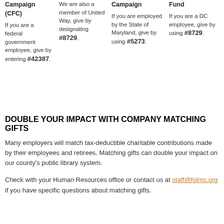Federal Campaign (CFC)

If you are a federal government employee, give by entering #42387.
We are also a member of United Way, give by designating #8729.
Campaign

If you are employed by the State of Maryland, give by using #5273.
Fund

If you are a DC employee, give by using #8729.
DOUBLE YOUR IMPACT WITH COMPANY MATCHING GIFTS
Many employers will match tax-deductible charitable contributions made by their employees and retirees. Matching gifts can double your impact on our county's public library system.
Check with your Human Resources office or contact us at staff@folmc.org if you have specific questions about matching gifts.